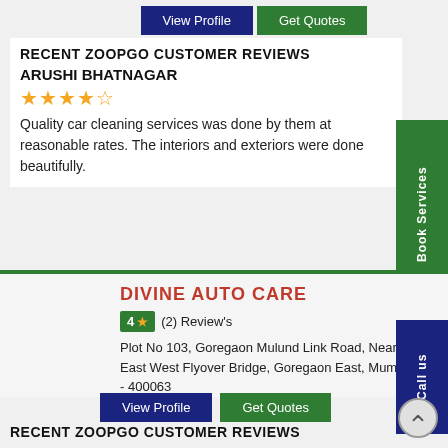View Profile | Get Quotes (buttons)
RECENT ZOOPGO CUSTOMER REVIEWS
ARUSHI BHATNAGAR
★★★★☆ (4 stars)
Quality car cleaning services was done by them at reasonable rates. The interiors and exteriors were done beautifully.
Book Services (vertical tab)
DIVINE AUTO CARE
4 ★ (2) Review's
Plot No 103, Goregaon Mulund Link Road, Near East West Flyover Bridge, Goregaon East, Mumbai - 400063
Call us (vertical tab)
View Profile | Get Quotes (buttons)
RECENT ZOOPGO CUSTOMER REVIEWS